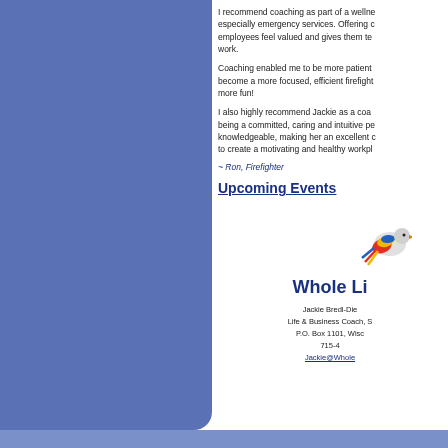I recommend coaching as part of a wellness program, especially emergency services. Offering coaching makes employees feel valued and gives them tools they can use at work.
Coaching enabled me to be more patient, and helped me become a more focused, efficient firefighter. And it’s been more fun!
I also highly recommend Jackie as a coach. In addition to being a committed, caring and intuitive person, she is also knowledgeable, making her an excellent coach. She knows how to create a motivating and healthy workplace.
~ Ron, Firefighter
Upcoming Events
[Figure (logo): Whole Life coaching logo with colorful bird illustration]
Whole Li
Jackie Bredl-Die
Life & Business Coach, S
P.O. Box 1101, Wisco
715-4
Jackie@Whole